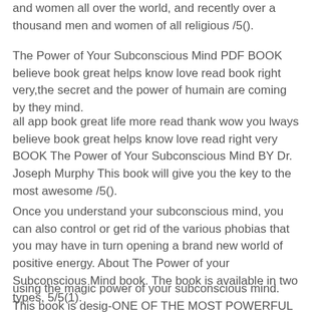and women all over the world, and recently over a thousand men and women of all religious /5().
The Power of Your Subconscious Mind PDF BOOK believe book great helps know love read book right very,the secret and the power of humain are coming by they mind.
all app book great life more read thank wow you lways believe book great helps know love read right very BOOK The Power of Your Subconscious Mind BY Dr. Joseph Murphy This book will give you the key to the most awesome /5().
Once you understand your subconscious mind, you can also control or get rid of the various phobias that you may have in turn opening a brand new world of positive energy. About The Power of your Subconscious Mind book. The book is available in two types, 5/5(1).
using the magic power of your subconscious mind. This book is desig-ONE OF THE MOST POWERFUL SELF-